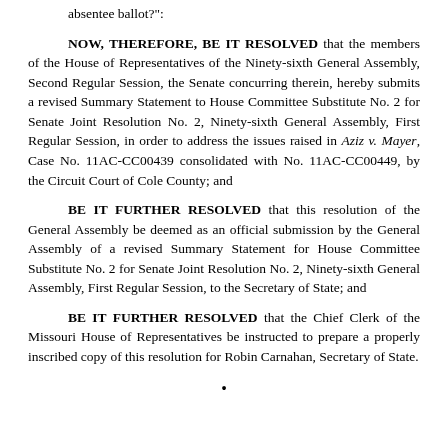absentee ballot?":
NOW, THEREFORE, BE IT RESOLVED that the members of the House of Representatives of the Ninety-sixth General Assembly, Second Regular Session, the Senate concurring therein, hereby submits a revised Summary Statement to House Committee Substitute No. 2 for Senate Joint Resolution No. 2, Ninety-sixth General Assembly, First Regular Session, in order to address the issues raised in Aziz v. Mayer, Case No. 11AC-CC00439 consolidated with No. 11AC-CC00449, by the Circuit Court of Cole County; and
BE IT FURTHER RESOLVED that this resolution of the General Assembly be deemed as an official submission by the General Assembly of a revised Summary Statement for House Committee Substitute No. 2 for Senate Joint Resolution No. 2, Ninety-sixth General Assembly, First Regular Session, to the Secretary of State; and
BE IT FURTHER RESOLVED that the Chief Clerk of the Missouri House of Representatives be instructed to prepare a properly inscribed copy of this resolution for Robin Carnahan, Secretary of State.
•